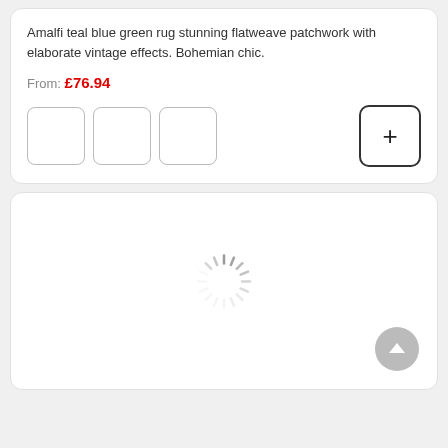Amalfi teal blue green rug stunning flatweave patchwork with elaborate vintage effects. Bohemian chic.
From: £76.94
[Figure (other): Three empty thumbnail image boxes and a plus/add button on the right]
[Figure (other): A white card panel with a loading spinner in the center and a back-to-top circular button in the bottom right corner]